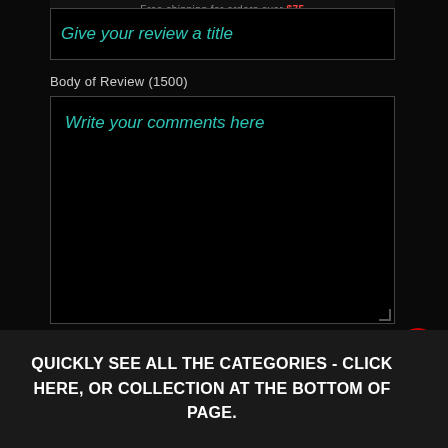Free shipping for orders over $75
Give your review a title
Body of Review (1500)
Write your comments here
SUBMIT REVIEW
QUICKLY SEE ALL THE CATEGORIES - CLICK HERE, OR COLLECTION AT THE BOTTOM OF PAGE.